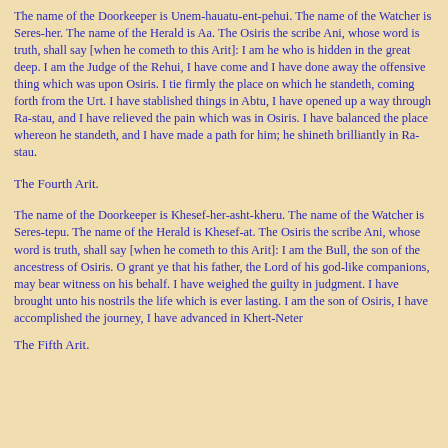The name of the Doorkeeper is Unem-hauatu-ent-pehui. The name of the Watcher is Seres-her. The name of the Herald is Aa. The Osiris the scribe Ani, whose word is truth, shall say [when he cometh to this Arit]: I am he who is hidden in the great deep. I am the Judge of the Rehui, I have come and I have done away the offensive thing which was upon Osiris. I tie firmly the place on which he standeth, coming forth from the Urt. I have stablished things in Abtu, I have opened up a way through Ra-stau, and I have relieved the pain which was in Osiris. I have balanced the place whereon he standeth, and I have made a path for him; he shineth brilliantly in Ra-stau.
The Fourth Arit.
The name of the Doorkeeper is Khesef-her-asht-kheru. The name of the Watcher is Seres-tepu. The name of the Herald is Khesef-at. The Osiris the scribe Ani, whose word is truth, shall say [when he cometh to this Arit]: I am the Bull, the son of the ancestress of Osiris. O grant ye that his father, the Lord of his god-like companions, may bear witness on his behalf. I have weighed the guilty in judgment. I have brought unto his nostrils the life which is ever lasting. I am the son of Osiris, I have accomplished the journey, I have advanced in Khert-Neter
The Fifth Arit.